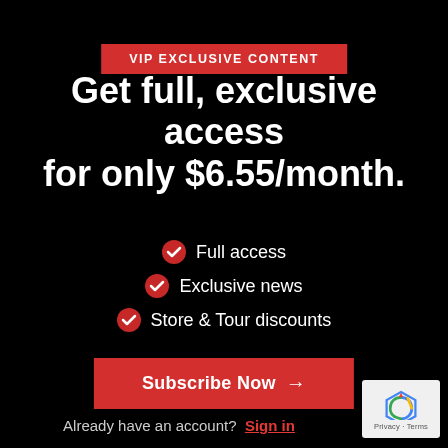VIP EXCLUSIVE CONTENT
Get full, exclusive access for only $6.55/month.
Full access
Exclusive news
Store & Tour discounts
Subscribe Now →
Already have an account? Sign in
[Figure (logo): Google reCAPTCHA badge with Privacy and Terms text]